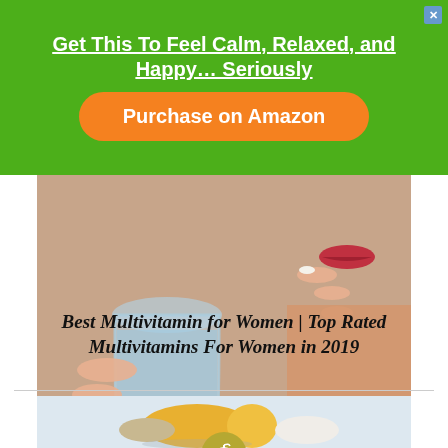Get This To Feel Calm, Relaxed, and Happy… Seriously
Purchase on Amazon
[Figure (photo): Woman holding a glass of water and taking a pill, close-up of hands and mouth]
Best Multivitamin for Women | Top Rated Multivitamins For Women in 2019
[Figure (photo): Close-up of vitamin/supplement capsules on light blue background]